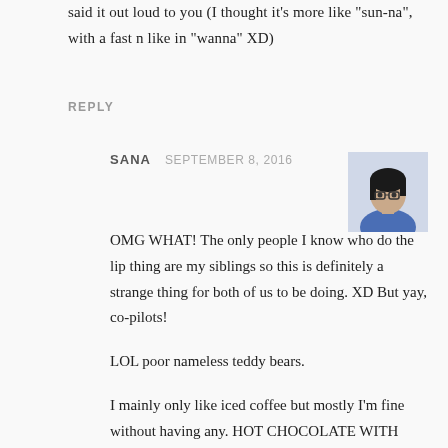said it out loud to you (I thought it's more like "sun-na", with a fast n like in "wanna" XD)
REPLY
SANA   SEPTEMBER 8, 2016
[Figure (photo): User avatar photo of a woman with dark hair and glasses, wearing a blue top]
OMG WHAT! The only people I know who do the lip thing are my siblings so this is definitely a strange thing for both of us to be doing. XD But yay, co-pilots!
LOL poor nameless teddy bears.
I mainly only like iced coffee but mostly I'm fine without having any. HOT CHOCOLATE WITH WATER, THOUGH? WHY? D=